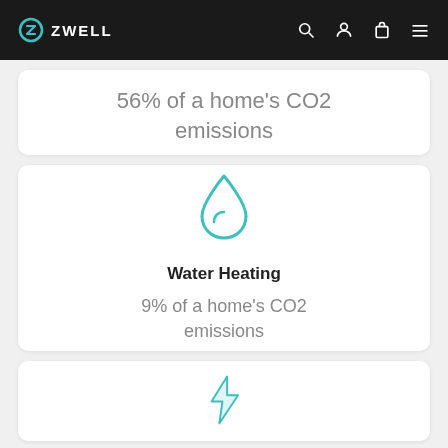ZWELL
56% of a home's CO2 emissions
[Figure (illustration): Teal water drop icon]
Water Heating
9% of a home's CO2 emissions
[Figure (illustration): Teal lightning bolt icon (partially visible)]